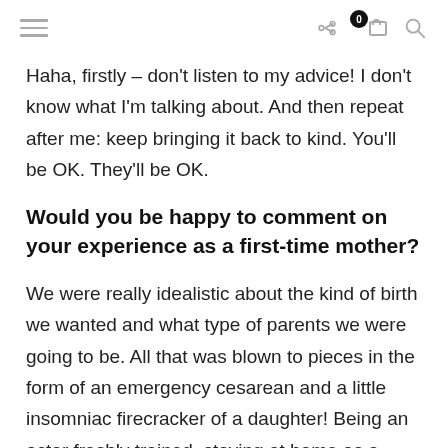Haha, firstly – don't listen to my advice! I don't know what I'm talking about. And then repeat after me: keep bringing it back to kind. You'll be OK. They'll be OK.
Would you be happy to comment on your experience as a first-time mother?
We were really idealistic about the kind of birth we wanted and what type of parents we were going to be. All that was blown to pieces in the form of an emergency cesarean and a little insomniac firecracker of a daughter! Being an actor freshly trained, staying at home as a mum was really challenging for me. Luckily, my partner Hayden had a flexible job and he worked extremely hard to provide for us, whilst supporting me in building a career at the same time.